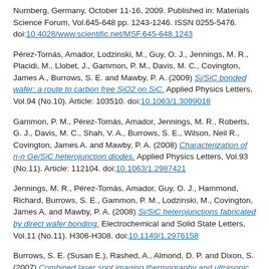Nurnberg, Germany, October 11-16, 2009. Published in: Materials Science Forum, Vol.645-648 pp. 1243-1246. ISSN 0255-5476. doi:10.4028/www.scientific.net/MSF.645-648.1243
Pérez-Tomás, Amador, Lodzinski, M., Guy, O. J., Jennings, M. R., Placidi, M., Llobet, J., Gammon, P. M., Davis, M. C., Covington, James A., Burrows, S. E. and Mawby, P. A. (2009) Si/SiC bonded wafer: a route to carbon free SiO2 on SiC. Applied Physics Letters, Vol.94 (No.10). Article: 103510. doi:10.1063/1.3099018
Gammon, P. M., Pérez-Tomás, Amador, Jennings, M. R., Roberts, G. J., Davis, M. C., Shah, V. A., Burrows, S. E., Wilson, Neil R., Covington, James A. and Mawby, P. A. (2008) Characterization of n-n Ge/SiC heterojunction diodes. Applied Physics Letters, Vol.93 (No.11). Article: 112104. doi:10.1063/1.2987421
Jennings, M. R., Pérez-Tomás, Amador, Guy, O. J., Hammond, Richard, Burrows, S. E., Gammon, P. M., Lodzinski, M., Covington, James A. and Mawby, P. A. (2008) Si/SiC heterojunctions fabricated by direct wafer bonding. Electrochemical and Solid State Letters, Vol.11 (No.11). H306-H308. doi:10.1149/1.2976158
Burrows, S. E. (Susan E.), Rashed, A., Almond, D. P. and Dixon, S. (2007) Combined laser spot imaging thermography and ultrasonic measurements